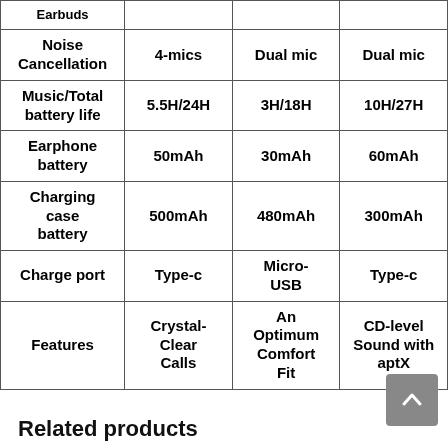|  | Product 1 | Product 2 | Product 3 |
| --- | --- | --- | --- |
| Earbuds |  |  |  |
| Noise Cancellation | 4-mics | Dual mic | Dual mic |
| Music/Total battery life | 5.5H/24H | 3H/18H | 10H/27H |
| Earphone battery | 50mAh | 30mAh | 60mAh |
| Charging case battery | 500mAh | 480mAh | 300mAh |
| Charge port | Type-c | Micro-USB | Type-c |
| Features | Crystal-Clear Calls | An Optimum Comfort Fit | CD-level Sound with aptX |
Related products